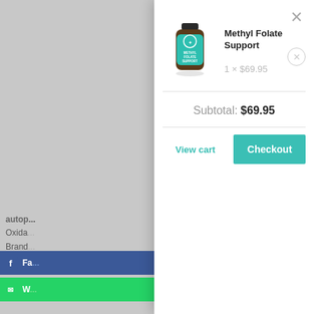[Figure (screenshot): Shopping cart modal overlay on an e-commerce website showing Methyl Folate Support supplement with quantity 1 at $69.95, subtotal $69.95, View cart and Checkout buttons. Left side shows gray background with partially visible page content.]
Methyl Folate Support
1 × $69.95
Subtotal: $69.95
View cart
Checkout